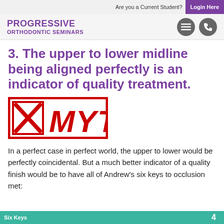Are you a Current Student? Login Here
[Figure (logo): Progressive Orthodontic Seminars logo with menu and phone icons]
3. The upper to lower midline being aligned perfectly is an indicator of quality treatment.
[Figure (illustration): Red stamp graphic with X checkbox and text MYTH in bold italic red letters inside a red border rectangle]
In a perfect case in perfect world, the upper to lower would be perfectly coincidental. But a much better indicator of a quality finish would be to have all of Andrew's six keys to occlusion met:
4